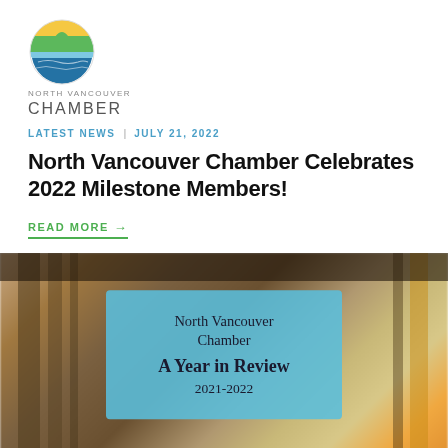[Figure (logo): North Vancouver Chamber circular logo with green, yellow, blue landscape design]
NORTH VANCOUVER
CHAMBER
LATEST NEWS  |  JULY 21, 2022
North Vancouver Chamber Celebrates 2022 Milestone Members!
READ MORE →
[Figure (photo): Blurred indoor photo with a blue card overlay reading: North Vancouver Chamber A Year in Review 2021-2022]